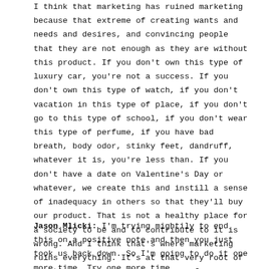I think that marketing has ruined marketing because that extreme of creating wants and needs and desires, and convincing people that they are not enough as they are without this product. If you don't own this type of luxury car, you're not a success. If you don't own this type of watch, if you don't vacation in this type of place, if you don't go to this type of school, if you don't wear this type of perfume, if you have bad breath, body odor, stinky feet, dandruff, whatever it is, you're less than. If you don't have a date on Valentine's Day or whatever, we create this and instill a sense of inadequacy in others so that they'll buy our product. That is not a healthy place for a society to be and to contribute to it is wrong. And I think that's where marketing ruins everything. It's at that very root of creating an insecurity, a sense of inadequacy in others so that I can sell you something.
Jason Mlicki: I'm trying mightily to end this on a positive note and then you just took us back down. So I'm going to do it one more time. Try one more time.